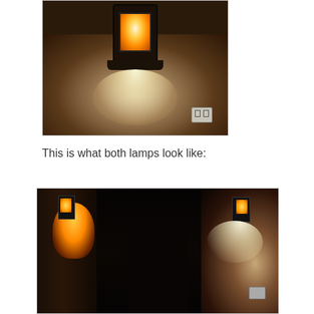[Figure (photo): Close-up photo of a single decorative wall lantern mounted on a textured wall, illuminated with warm amber light inside the glass panels and a bright white LED light shining downward, with a light switch visible on the wall below.]
This is what both lamps look like:
[Figure (photo): Wide-angle photo showing two identical wall lanterns mounted in a dark hallway or corridor, one on the left showing only warm amber glow and one on the right also showing a bright white LED downlight, demonstrating the contrast between the two lamps.]